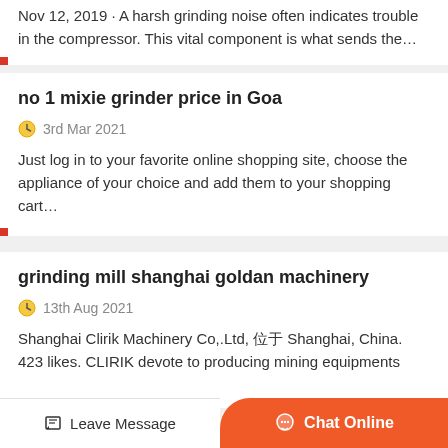Nov 12, 2019 · A harsh grinding noise often indicates trouble in the compressor. This vital component is what sends the…
no 1 mixie grinder price in Goa
3rd Mar 2021
Just log in to your favorite online shopping site, choose the appliance of your choice and add them to your shopping cart…
grinding mill shanghai goldan machinery
13th Aug 2021
Shanghai Clirik Machinery Co,.Ltd, 位于 ​Shanghai, China​. 423 likes. CLIRIK devote to producing mining equipments
Leave Message
Chat Online